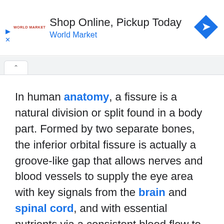[Figure (other): Advertisement banner: 'Shop Online, Pickup Today / World Market' with World Market logo and navigation icon]
In human anatomy, a fissure is a natural division or split found in a body part. Formed by two separate bones, the inferior orbital fissure is actually a groove-like gap that allows nerves and blood vessels to supply the eye area with key signals from the brain and spinal cord, and with essential nutrients via a consistent blood flow to the area. The two bones making up the inferior orbital fissure are the sphenoid bone and the maxilla.